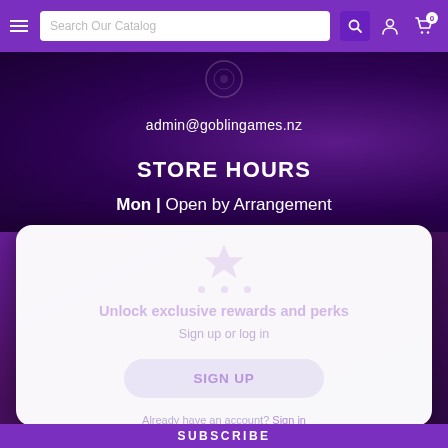Search Our Catalog (navigation bar with hamburger menu, search box, and icons)
admin@goblingames.nz
STORE HOURS
Mon | Open by Arrangement
Unlock exclusive rewards and perks
Sign up or log in
SIGN UP
Already have an account? Sign in
SUBSCRIBE